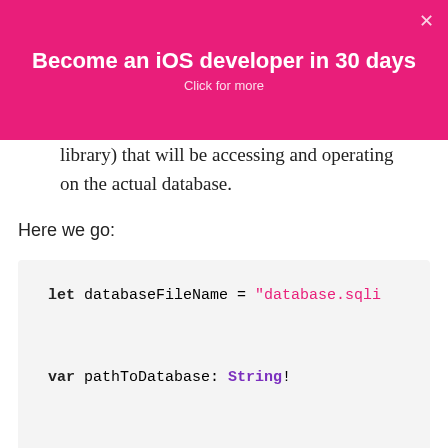Become an iOS developer in 30 days
Click for more
library) that will be accessing and operating on the actual database.
Here we go:
Hey, wait! We're missing an init() method that